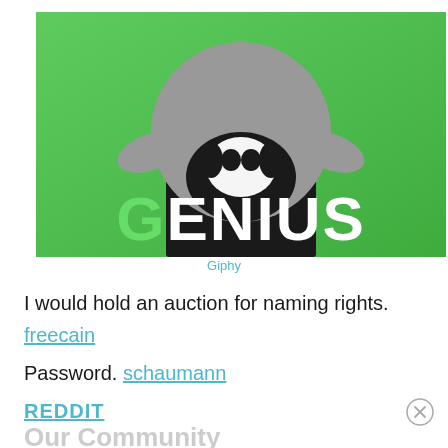[Figure (photo): A person in a grey sweatshirt sitting in a chair holding a black and white dog against a bright green background, with the word GENIUS in large white bold text overlaid at the bottom.]
Giphy
I would hold an auction for naming rights.
freecain
Password. schaumann
REDDIT
Our Community